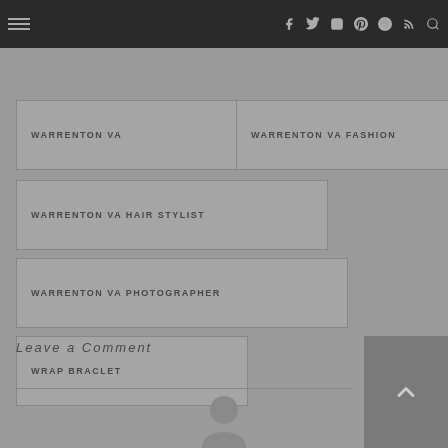Navigation bar with hamburger menu and social icons
WARRENTON VA
WARRENTON VA FASHION
WARRENTON VA HAIR STYLIST
WARRENTON VA PHOTOGRAPHER
WRAP BRACLET
Leave a Comment
[Figure (illustration): Partial avatar/person silhouette icon at bottom center]